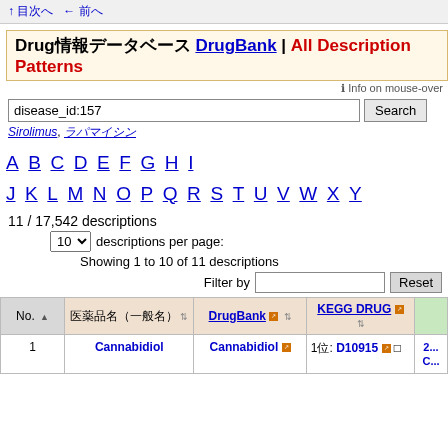↑ 目次へ ← 前へ
Drug情報データベース DrugBank | All Description Patterns
ℹ Info on mouse-over
disease_id:157
Sirolimus, ラパマイシン
A B C D E F G H I J K L M N O P Q R S T U V W X Y
11 / 17,542 descriptions
10 descriptions per page:
Showing 1 to 10 of 11 descriptions
Filter by
| No. | 医薬品名（一般名） | DrugBank | KEGG DRUG |  |
| --- | --- | --- | --- | --- |
| 1 | Cannabidiol | Cannabidiol | 1位: D10915 □ | 2... |